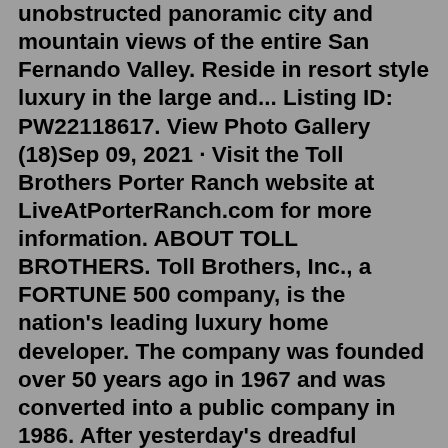unobstructed panoramic city and mountain views of the entire San Fernando Valley. Reside in resort style luxury in the large and... Listing ID: PW22118617. View Photo Gallery (18)Sep 09, 2021 · Visit the Toll Brothers Porter Ranch website at LiveAtPorterRanch.com for more information. ABOUT TOLL BROTHERS. Toll Brothers, Inc., a FORTUNE 500 company, is the nation's leading luxury home developer. The company was founded over 50 years ago in 1967 and was converted into a public company in 1986. After yesterday's dreadful collapse in new home sales (and Toll Brothers' less than rosy picture overnight), analysts expected another monthly decline in pending "Inventories are growing for homes in the upper price ranges, but limited supply at lower price points is hindering transaction activity."Hillcrest at Porter Ranch - Overlook Collection is a new community in Porter Ranch, CA by Toll Brothers. This new construction community offers 5 bed, 5-6 bath homes ranging from 3,667-3,873 sqft. There are 3 plan types available at